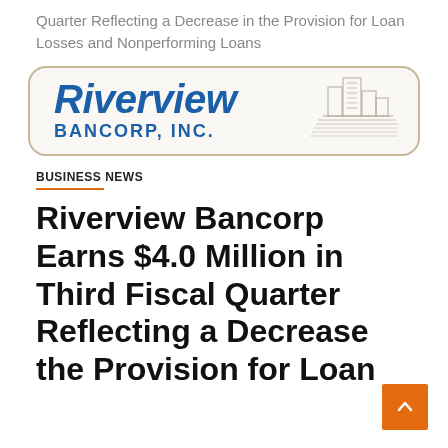Quarter Reflecting a Decrease in the Provision for Loan Losses and Nonperforming Loans
[Figure (logo): Riverview Bancorp, Inc. company logo with building illustration]
BUSINESS NEWS
Riverview Bancorp Earns $4.0 Million in Third Fiscal Quarter Reflecting a Decrease the Provision for Loan